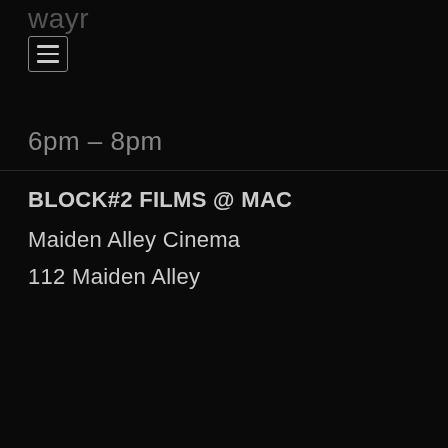wayr
[Figure (other): Hamburger menu icon — three horizontal lines inside a rounded rectangle border]
6pm – 8pm
BLOCK#2 FILMS @ MAC
Maiden Alley Cinema
112 Maiden Alley